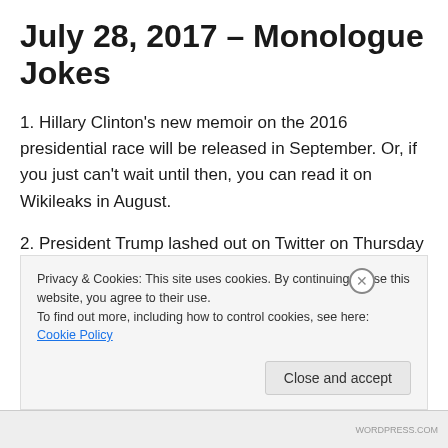July 28, 2017 – Monologue Jokes
1. Hillary Clinton's new memoir on the 2016 presidential race will be released in September. Or, if you just can't wait until then, you can read it on Wikileaks in August.
2. President Trump lashed out on Twitter on Thursday against the 'Fake News' for not reporting that Russian spies had information on his campaign too. Um, I'm pretty sure they did report on that:
Privacy & Cookies: This site uses cookies. By continuing to use this website, you agree to their use.
To find out more, including how to control cookies, see here: Cookie Policy
Close and accept